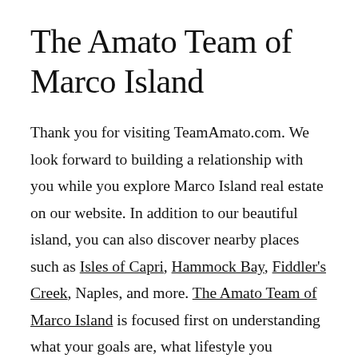The Amato Team of Marco Island
Thank you for visiting TeamAmato.com. We look forward to building a relationship with you while you explore Marco Island real estate on our website. In addition to our beautiful island, you can also discover nearby places such as Isles of Capri, Hammock Bay, Fiddler's Creek, Naples, and more. The Amato Team of Marco Island is focused first on understanding what your goals are, what lifestyle you envision, and then working with you to find the property that fits your dreams.  We want your search to be a fun and exciting process, we will work to make it a smooth